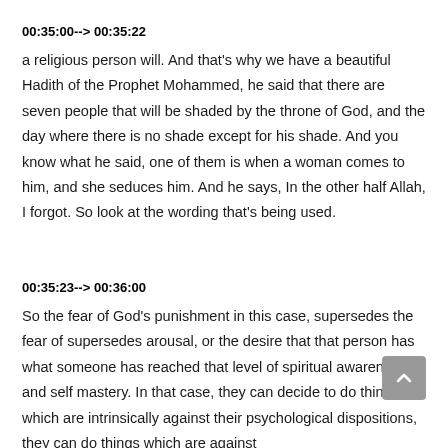00:35:00--> 00:35:22
a religious person will. And that's why we have a beautiful Hadith of the Prophet Mohammed, he said that there are seven people that will be shaded by the throne of God, and the day where there is no shade except for his shade. And you know what he said, one of them is when a woman comes to him, and she seduces him. And he says, In the other half Allah, I forgot. So look at the wording that's being used.
00:35:23--> 00:36:00
So the fear of God's punishment in this case, supersedes the fear of supersedes arousal, or the desire that that person has what someone has reached that level of spiritual awareness, and self mastery. In that case, they can decide to do things which are intrinsically against their psychological dispositions, they can do things which are against